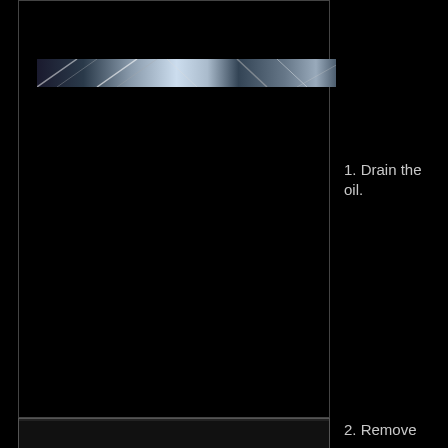[Figure (photo): Dark photograph showing metallic mechanical components (engine or machinery parts) — a thin horizontal strip visible at the top of the left column area]
[Figure (photo): Large dark photograph area occupying most of the left column, showing engine or mechanical parts in very low light — mostly black]
1. Drain the oil.
[Figure (photo): Second smaller dark photograph strip at the bottom of the left column]
2. Remove